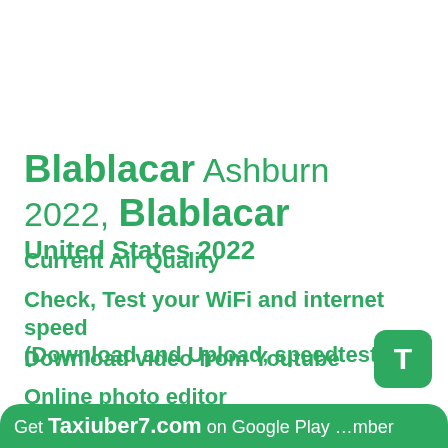Blablacar Ashburn 2022, Blablacar United States 2022
Current Air Quality
Check, Test your WiFi and internet speed (Download and Upload, speedtest)
Download video from Youtube
Online photo editor
Get Taxiuber7.com on Google Play … mber